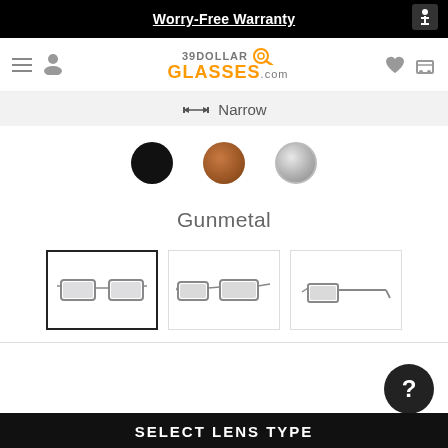Worry-Free Warranty
[Figure (logo): 39DollarGlasses.com logo with orange text and search icon]
⟷ Narrow
[Figure (illustration): Three color swatches: black, brown, and gunmetal (selected)]
Gunmetal
[Figure (photo): Three thumbnail views of gunmetal narrow sunglasses: front view (selected), angled front view, side view]
SELECT LENS TYPE